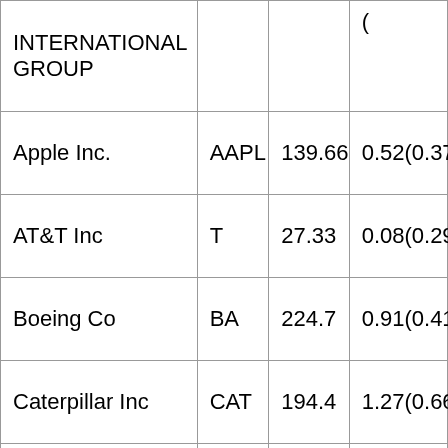| Company | Symbol | Price | Change |
| --- | --- | --- | --- |
| INTERNATIONAL GROUP |  |  | (...) |
| Apple Inc. | AAPL | 139.66 | 0.52(0.37%) |
| AT&T Inc | T | 27.33 | 0.08(0.29%) |
| Boeing Co | BA | 224.7 | 0.91(0.41%) |
| Caterpillar Inc | CAT | 194.4 | 1.27(0.66%) |
| Chevron Corp | CVX | 106 | 1.28(1.22%) |
| Cisco Systems Inc | CSCO | 54.32 | 0.09(0.17%) |